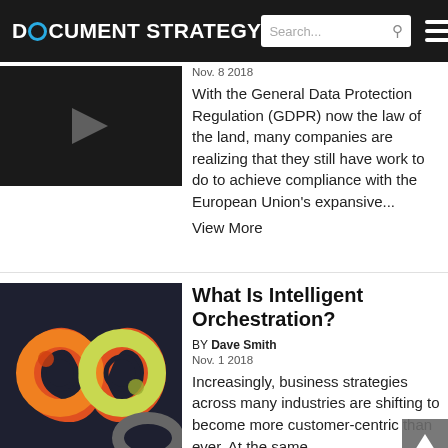DOCUMENT STRATEGY
Nov. 8 2018
With the General Data Protection Regulation (GDPR) now the law of the land, many companies are realizing that they still have work to do to achieve compliance with the European Union's expansive... View More
[Figure (photo): Dark thumbnail image with a play button arrow for an article about GDPR]
What Is Intelligent Orchestration?
BY Dave Smith
Nov. 1 2018
Increasingly, business strategies across many industries are shifting to become more customer-centric than ever. At the same,
[Figure (illustration): Colorful abstract infinity-loop symbol graphic on dark background, with gradient oranges, reds, yellows, and greens]